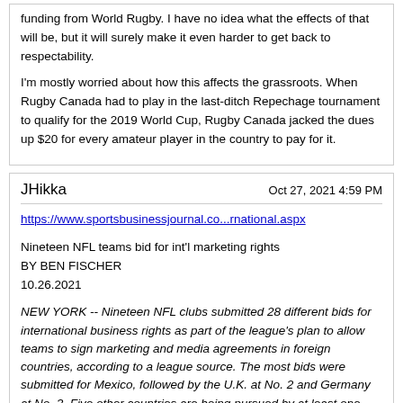funding from World Rugby. I have no idea what the effects of that will be, but it will surely make it even harder to get back to respectability.

I'm mostly worried about how this affects the grassroots. When Rugby Canada had to play in the last-ditch Repechage tournament to qualify for the 2019 World Cup, Rugby Canada jacked the dues up $20 for every amateur player in the country to pay for it.
JHikka
Oct 27, 2021 4:59 PM
https://www.sportsbusinessjournal.co...rnational.aspx
Nineteen NFL teams bid for int'l marketing rights
BY BEN FISCHER
10.26.2021
NEW YORK -- Nineteen NFL clubs submitted 28 different bids for international business rights as part of the league's plan to allow teams to sign marketing and media agreements in foreign countries, according to a league source. The most bids were submitted for Mexico, followed by the U.K. at No. 2 and Germany at No. 3. Five other countries are being pursued by at least one other team: Canada, Brazil, Australia, China and an undisclosed European country that isn't Ireland, the source said. Teams will find out by December who gets which markets. This will be the first time NFL teams will be allowed to work in foreign countries in the same manner they can develop revenue and fan engagement in their domestic home markets. Historically, the league has centrally controlled global rights.